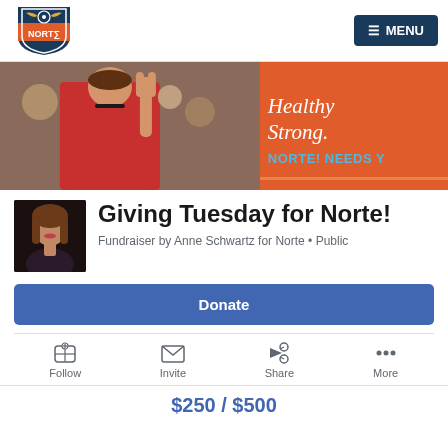[Figure (logo): Norte shield logo with wings and soccer ball]
≡ MENU
[Figure (photo): Banner image showing youth making peace sign and orange graphic with 'Healthy Strong. NORTE! NEEDS Y']
[Figure (photo): Profile photo of Anne Schwartz]
Giving Tuesday for Norte!
Fundraiser by Anne Schwartz for Norte • Public
Donate
Follow
Invite
Share
More
$250 / $500